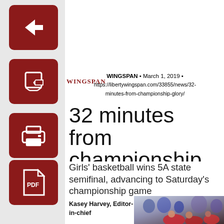[Figure (illustration): Dark red back button (left arrow) icon on dark red rounded square]
[Figure (illustration): Dark red edit/pencil icon on dark red rounded square, with Wingspan logo visible]
[Figure (illustration): Dark red print icon on dark red rounded square]
[Figure (illustration): Dark red PDF icon on dark red rounded square]
WINGSPAN • March 1, 2019 • https://libertywingspan.com/33855/news/32-minutes-from-championship-glory/
32 minutes from championship glory
Girls' basketball wins 5A state semifinal, advancing to Saturday's championship game
Kasey Harvey, Editor-in-chief
[Figure (photo): Basketball players in red uniforms, crowd in background, state semifinal game]